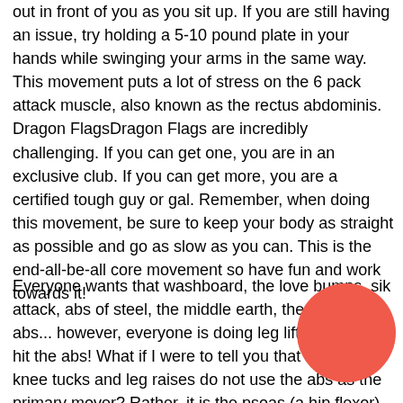out in front of you as you sit up. If you are still having an issue, try holding a 5-10 pound plate in your hands while swinging your arms in the same way. This movement puts a lot of stress on the 6 pack attack muscle, also known as the rectus abdominis. Dragon FlagsDragon Flags are incredibly challenging. If you can get one, you are in an exclusive club. If you can get more, you are a certified tough guy or gal. Remember, when doing this movement, be sure to keep your body as straight as possible and go as slow as you can. This is the end-all-be-all core movement so have fun and work towards it!
Everyone wants that washboard, the love bumps, six pack attack, abs of steel, the middle earth, the between the abs... however, everyone is doing leg lifts and knee tucks to hit the abs! What if I were to tell you that hanging knee tucks and leg raises do not use the abs as the primary mover? Rather, it is the psoas (a hip flexor) that makes these movements possible.
[Figure (illustration): A red circle overlapping part of the second text paragraph]